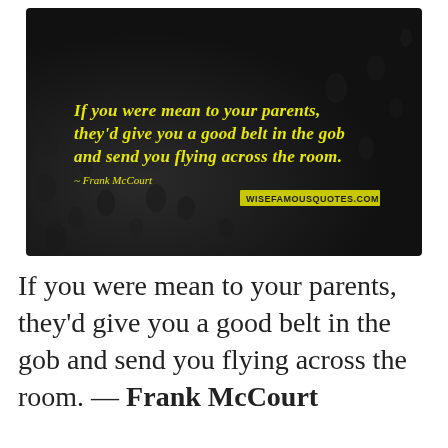[Figure (illustration): Dark textured background resembling rain-covered glass or wet surface in dark tones. Yellow bold italic text reads: 'If you were mean to your parents, they'd give you a good belt in the gob and send you flying across the room.' Below that in smaller yellow italic text '~ Frank McCourt' and a yellow badge reading 'WISEFAMOUSQUOTES.COM']
If you were mean to your parents, they'd give you a good belt in the gob and send you flying across the room. — Frank McCourt